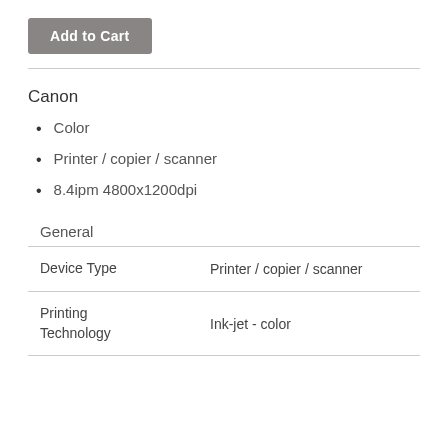Add to Cart
Canon
Color
Printer / copier / scanner
8.4ipm 4800x1200dpi
General
|  |  |
| --- | --- |
| Device Type | Printer / copier / scanner |
| Printing Technology | Ink-jet - color |